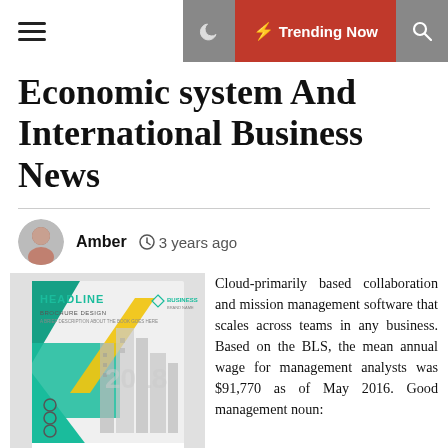≡ | 🌙 | ⚡ Trending Now | 🔍
Economic system And International Business News
Amber   🕐 3 years ago
[Figure (illustration): A business brochure cover design for 2018 featuring teal geometric shapes, a yellow diagonal stripe, and a city skyline with skyscrapers. Text reads HEADLINE, BROCHURE DESIGN, and a BUSINESS logo.]
Cloud-primarily based collaboration and mission management software that scales across teams in any business. Based on the BLS, the mean annual wage for management analysts was $91,770 as of May 2016. Good management noun: